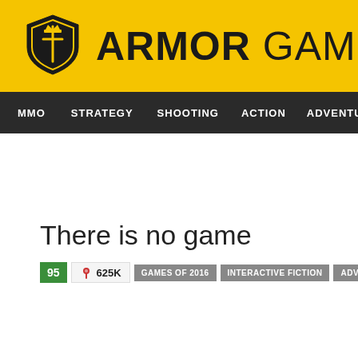ARMOR GAMES
MMO | STRATEGY | SHOOTING | ACTION | ADVENTURE | P...
There is no game
95  625K  GAMES OF 2016  INTERACTIVE FICTION  ADVENTURE  PIXEL